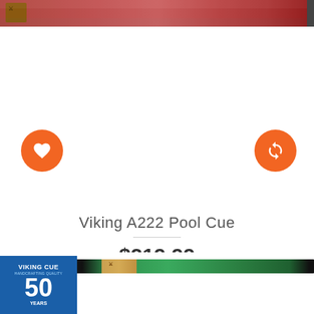[Figure (photo): Top portion of a Viking pool cue stick with red/burgundy finish]
[Figure (infographic): Orange circular heart/favorite button on left and orange circular refresh/compare button on right]
Viking A222 Pool Cue
$219.99
Add to Cart
[Figure (photo): Bottom portion showing another Viking pool cue with green finish and Viking Cue 50 Years anniversary badge]